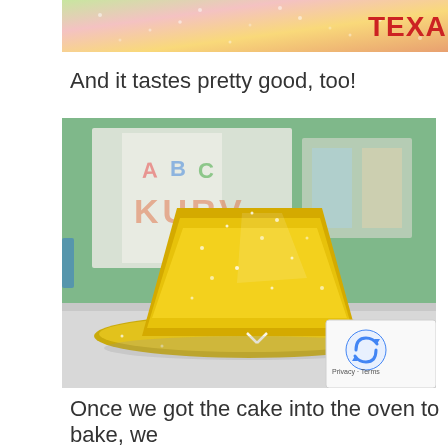[Figure (photo): Top cropped strip of a colorful glittery background image with a partial red TEXAN logo/text visible on the right side]
And it tastes pretty good, too!
[Figure (photo): A gold glittery cowboy hat sitting on a table in a classroom. In the blurred background there are colorful posters and artwork on a green wall. A reCAPTCHA badge is overlaid in the bottom right corner.]
Once we got the cake into the oven to bake, we